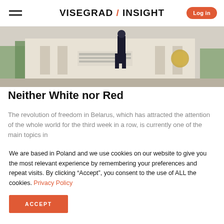VISEGRAD / INSIGHT | Log in
[Figure (photo): Photograph of a building exterior with a person visible in the foreground, appears to be a government or institutional building]
Neither White nor Red
The revolution of freedom in Belarus, which has attracted the attention of the whole world for the third week in a row, is currently one of the main topics in
We are based in Poland and we use cookies on our website to give you the most relevant experience by remembering your preferences and repeat visits. By clicking "Accept", you consent to the use of ALL the cookies. Privacy Policy
ACCEPT